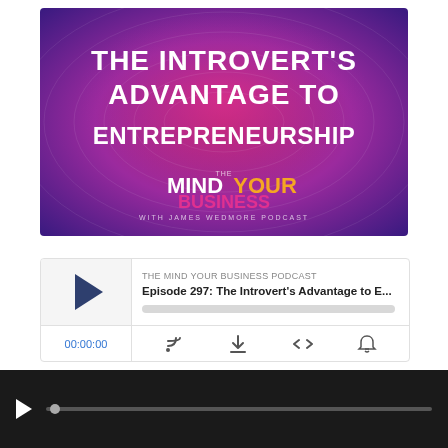[Figure (illustration): Podcast cover art for 'The Mind Your Business Podcast' showing episode 'The Introvert's Advantage to Entrepreneurship'. Purple and pink gradient background with white bold text and podcast logo.]
THE MIND YOUR BUSINESS PODCAST
Episode 297: The Introvert's Advantage to E...
00:00:00